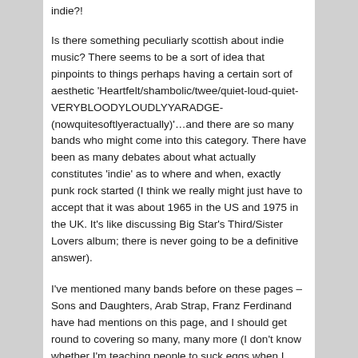indie?!
Is there something peculiarly scottish about indie music? There seems to be a sort of idea that pinpoints to things perhaps having a certain sort of aesthetic 'Heartfelt/shambolic/twee/quiet-loud-quiet-VERYBLOODYLOUDLYYARADGE-(nowquitesoftlyeractually)'…and there are so many bands who might come into this category. There have been as many debates about what actually constitutes 'indie' as to where and when, exactly punk rock started (I think we really might just have to accept that it was about 1965 in the US and 1975 in the UK. It's like discussing Big Star's Third/Sister Lovers album; there is never going to be a definitive answer).
I've mentioned many bands before on these pages – Sons and Daughters, Arab Strap, Franz Ferdinand have had mentions on this page, and I should get round to covering so many, many more (I don't know whether I'm teaching people to suck eggs when I write this stuff, but if